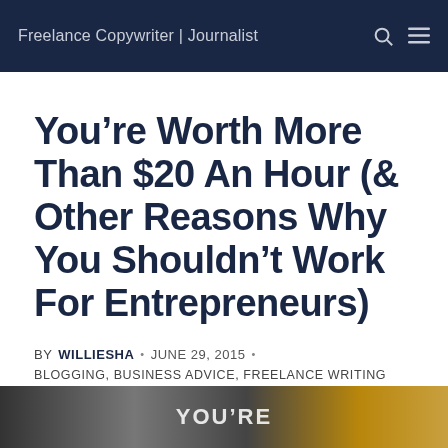Freelance Copywriter | Journalist
You’re Worth More Than $20 An Hour (& Other Reasons Why You Shouldn’t Work For Entrepreneurs)
BY WILLIESHA • JUNE 29, 2015 • BLOGGING, BUSINESS ADVICE, FREELANCE WRITING
[Figure (photo): Partial photo strip at bottom of page showing blurred figures, with text 'YOU'RE' partially visible in white bold letters on a dark overlay]